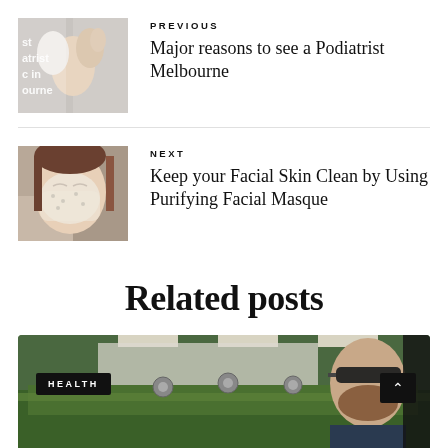[Figure (photo): Photo of a podiatrist examining a foot, with text overlay showing partial words like 'st', 'atrist', 'c in', 'ourne']
PREVIOUS
Major reasons to see a Podiatrist Melbourne
[Figure (photo): Photo of a woman with a facial mask applied, eyes closed, resting on a surface]
NEXT
Keep your Facial Skin Clean by Using Purifying Facial Masque
Related posts
[Figure (photo): Photo of a bearded man wearing sunglasses looking at green plants in an indoor growing facility, with HEALTH badge and up-arrow button overlay]